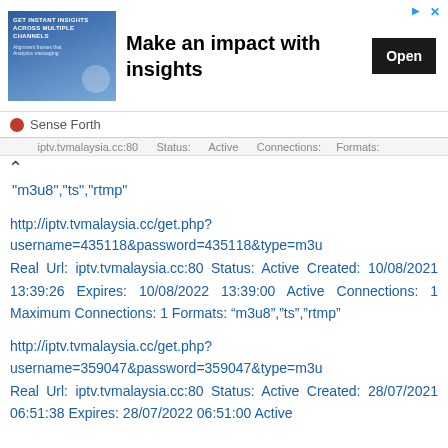[Figure (other): Advertisement banner: image on left showing a woman with text 'GET INSTANT INSIGHTS ACROSS MULTIPLE CHANNELS', bold headline 'Make an impact with insights', and an Open button on the right.]
Sense Forth
m3u8","ts","rtmp"
http://iptv.tvmalaysia.cc/get.php?username=435118&password=435118&type=m3u Real Url: iptv.tvmalaysia.cc:80 Status: Active Created: 10/08/2021 13:39:26 Expires: 10/08/2022 13:39:00 Active Connections: 1 Maximum Connections: 1 Formats: “m3u8”,”ts”,”rtmp”
http://iptv.tvmalaysia.cc/get.php?username=359047&password=359047&type=m3u Real Url: iptv.tvmalaysia.cc:80 Status: Active Created: 28/07/2021 06:51:38 Expires: 28/07/2022 06:51:00 Active